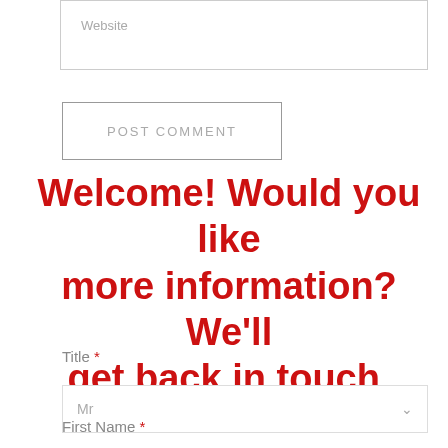Website
POST COMMENT
Welcome! Would you like more information? We'll get back in touch.
Title *
Mr
First Name *